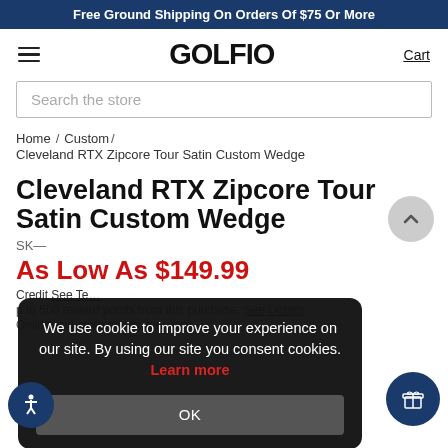Free Ground Shipping On Orders Of $75 Or More
[Figure (logo): Golfio logo with hamburger menu and Cart link]
Search the store
Home / Custom / Cleveland RTX Zipcore Tour Satin Custom Wedge
Cleveland RTX Zipcore Tour Satin Custom Wedge
We use cookie to improve your experience on our site. By using our site you consent cookies. Learn more
As Low As $149.99
Online and store prices may vary.